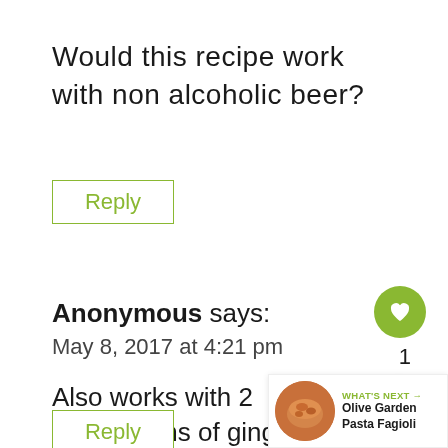Would this recipe work with non alcoholic beer?
Reply
Anonymous says:
May 8, 2017 at 4:21 pm
Also works with 2 bottles/cans of ginger ale.
Reply
[Figure (other): Green heart like button circle with count of 1]
[Figure (other): Share button circle]
[Figure (other): What's next panel showing Olive Garden Pasta Fagioli with food thumbnail]